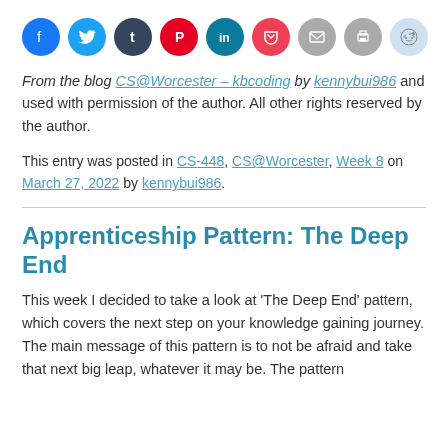[Figure (other): Row of social sharing icon circles: Facebook (blue), Twitter (light blue), Tumblr (dark navy), Pinterest (red), LinkedIn (teal), Pocket (dark pink/red), Email (grey), Print (grey), Reddit (light blue/grey)]
From the blog CS@Worcester – kbcoding by kennybui986 and used with permission of the author. All other rights reserved by the author.
This entry was posted in CS-448, CS@Worcester, Week 8 on March 27, 2022 by kennybui986.
Apprenticeship Pattern: The Deep End
This week I decided to take a look at 'The Deep End' pattern, which covers the next step on your knowledge gaining journey. The main message of this pattern is to not be afraid and take that next big leap, whatever it may be. The pattern